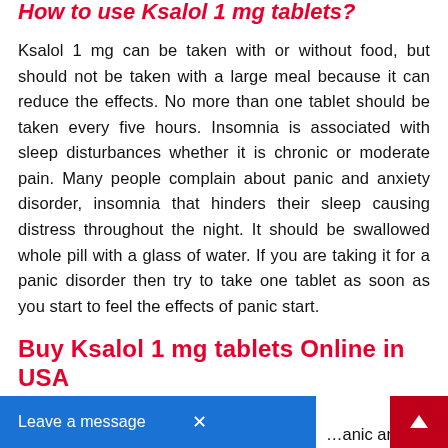How to use Ksalol 1 mg tablets?
Ksalol 1 mg can be taken with or without food, but should not be taken with a large meal because it can reduce the effects. No more than one tablet should be taken every five hours. Insomnia is associated with sleep disturbances whether it is chronic or moderate pain. Many people complain about panic and anxiety disorder, insomnia that hinders their sleep causing distress throughout the night. It should be swallowed whole pill with a glass of water. If you are taking it for a panic disorder then try to take one tablet as soon as you start to feel the effects of panic start.
Buy Ksalol 1 mg tablets Online in USA
...panic and anxiety disord